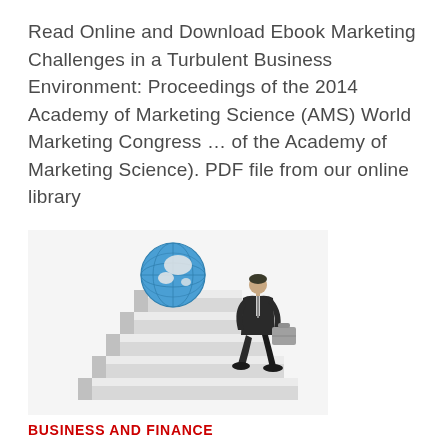Read Online and Download Ebook Marketing Challenges in a Turbulent Business Environment: Proceedings of the 2014 Academy of Marketing Science (AMS) World Marketing Congress … of the Academy of Marketing Science). PDF file from our online library
[Figure (illustration): Illustration of a businessman in a dark suit carrying a briefcase, walking up a staircase. A globe (showing Asia-Pacific region) sits at the top of the stairs.]
BUSINESS AND FINANCE